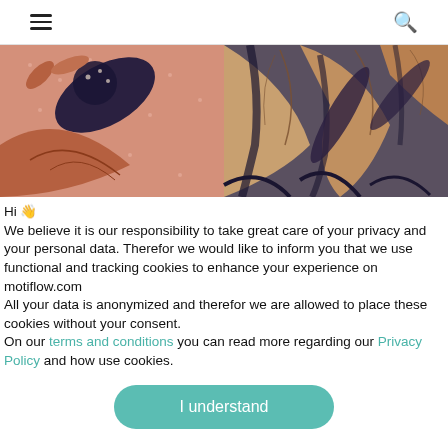☰ 🔍
[Figure (illustration): Decorative botanical/tropical leaf pattern in warm pink, rust, tan, and dark navy tones — a stylized fabric or wallpaper print.]
Hi 👋
We believe it is our responsibility to take great care of your privacy and your personal data. Therefor we would like to inform you that we use functional and tracking cookies to enhance your experience on motiflow.com
All your data is anonymized and therefor we are allowed to place these cookies without your consent.
On our terms and conditions you can read more regarding our Privacy Policy and how use cookies.
I understand